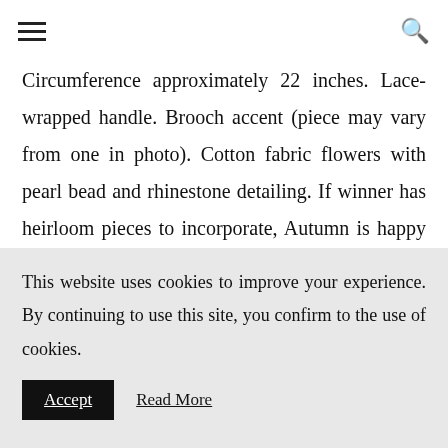[hamburger menu icon] [search icon]
Circumference approximately 22 inches. Lace-wrapped handle. Brooch accent (piece may vary from one in photo). Cotton fabric flowers with pearl bead and rhinestone detailing. If winner has heirloom pieces to incorporate, Autumn is happy to include them in your bouquet for an extra-special piece. Open to US residents only: free
This website uses cookies to improve your experience. By continuing to use this site, you confirm to the use of cookies.
Accept   Read More